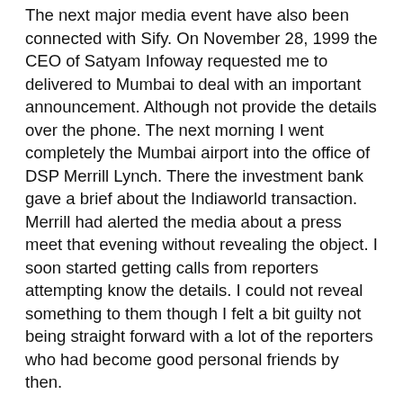The next major media event have also been connected with Sify. On November 28, 1999 the CEO of Satyam Infoway requested me to delivered to Mumbai to deal with an important announcement. Although not provide the details over the phone. The next morning I went completely the Mumbai airport into the office of DSP Merrill Lynch. There the investment bank gave a brief about the Indiaworld transaction. Merrill had alerted the media about a press meet that evening without revealing the object. I soon started getting calls from reporters attempting know the details. I could not reveal something to them though I felt a bit guilty not being straight forward with a lot of the reporters who had become good personal friends by then.
The game results can be obtained coming from the busy soccer fans. Discovered that get the effects at the end of their fingers. Live soccer scores can seen through various websites may well be accessible through a click of a real button. Latest scores could be obtained from specific world